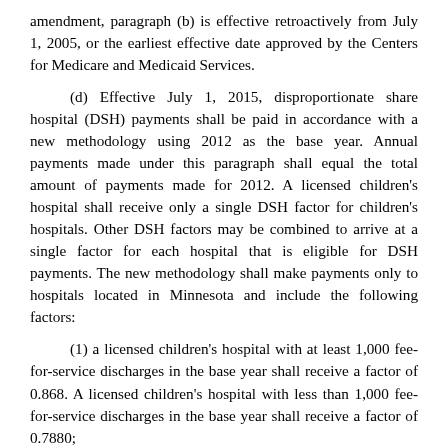amendment, paragraph (b) is effective retroactively from July 1, 2005, or the earliest effective date approved by the Centers for Medicare and Medicaid Services.
(d) Effective July 1, 2015, disproportionate share hospital (DSH) payments shall be paid in accordance with a new methodology using 2012 as the base year. Annual payments made under this paragraph shall equal the total amount of payments made for 2012. A licensed children's hospital shall receive only a single DSH factor for children's hospitals. Other DSH factors may be combined to arrive at a single factor for each hospital that is eligible for DSH payments. The new methodology shall make payments only to hospitals located in Minnesota and include the following factors:
(1) a licensed children's hospital with at least 1,000 fee-for-service discharges in the base year shall receive a factor of 0.868. A licensed children's hospital with less than 1,000 fee-for-service discharges in the base year shall receive a factor of 0.7880;
(2) a hospital that has in effect for the initial rate year a contract with the commissioner to provide extended